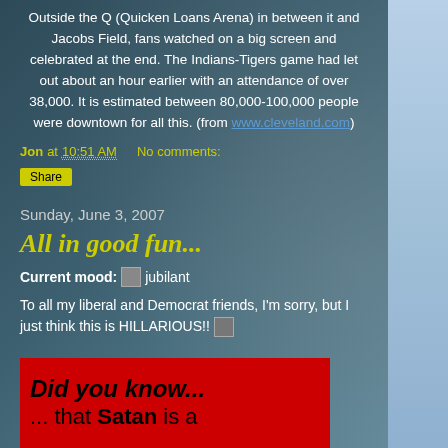Outside the Q (Quicken Loans Arena) in between it and Jacobs Field, fans watched on a big screen and celebrated at the end. The Indians-Tigers game had let out about an hour earlier with an attendance of over 38,000. It is estimated between 80,000-100,000 people were downtown for all this. (from www.cleveland.com)
Jon at 10:51 AM   No comments:
Share
Sunday, June 3, 2007
All in good fun...
Current mood: [icon] jubilant
To all my liberal and Democrat friends, I'm sorry, but I just think this is HILLARIOUS!! [icon]
[Figure (other): Red background image with bold italic text reading 'Did you know...' and below it '...that Satan is a']